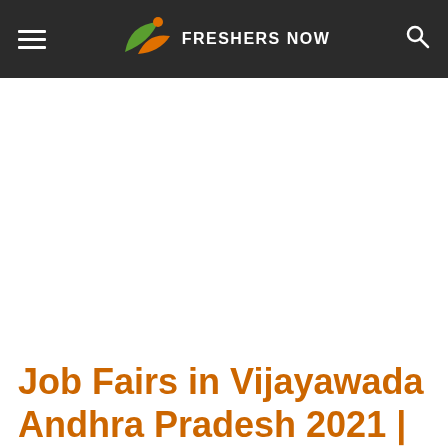FRESHERS NOW
[Figure (other): Advertisement / blank white space area below header]
Job Fairs in Vijayawada Andhra Pradesh 2021 | Freshers &